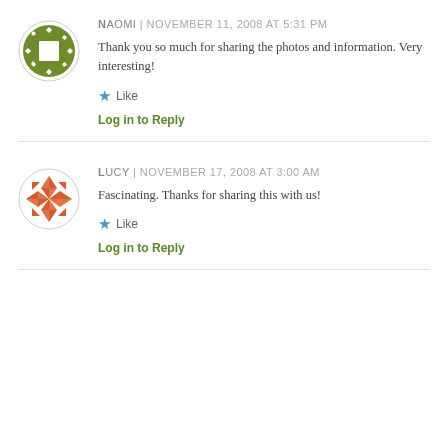[Figure (illustration): Green circular avatar icon with diamond/square pattern]
NAOMI | NOVEMBER 11, 2008 AT 5:31 PM
Thank you so much for sharing the photos and information. Very interesting!
Like
Log in to Reply
[Figure (illustration): Orange/red circular avatar icon with geometric flower pattern]
LUCY | NOVEMBER 17, 2008 AT 3:00 AM
Fascinating. Thanks for sharing this with us!
Like
Log in to Reply